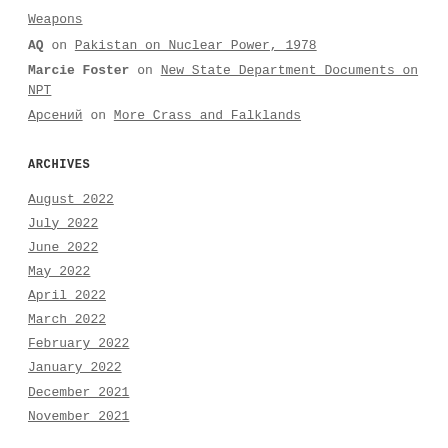Weapons
AQ on Pakistan on Nuclear Power, 1978
Marcie Foster on New State Department Documents on NPT
Арсений on More Crass and Falklands
ARCHIVES
August 2022
July 2022
June 2022
May 2022
April 2022
March 2022
February 2022
January 2022
December 2021
November 2021